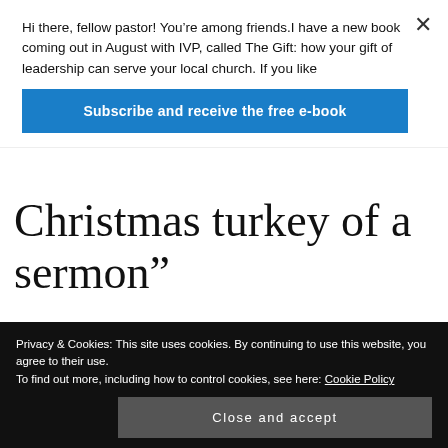Hi there, fellow pastor! You’re among friends.I have a new book coming out in August with IVP, called The Gift: how your gift of leadership can serve your local church. If you like
Subscribe and receive the free e-book
Christmas turkey of a sermon”
WINDY_LONDON SAYS:
day center why Christmas is such
Privacy & Cookies: This site uses cookies. By continuing to use this website, you agree to their use.
To find out more, including how to control cookies, see here: Cookie Policy
Close and accept